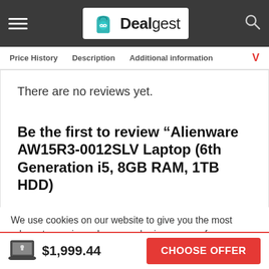Dealgest
Price History   Description   Additional information   ✓
There are no reviews yet.
Be the first to review “Alienware AW15R3-0012SLV Laptop (6th Generation i5, 8GB RAM, 1TB HDD)
We use cookies on our website to give you the most relevant experience by remembering your preferences and repeat visits. By clicking “Accept All”, you consent to the use of ALL the cookies. However, you may visit "Cookie Settings" to provide a controlled consent.
$1,999.44
CHOOSE OFFER